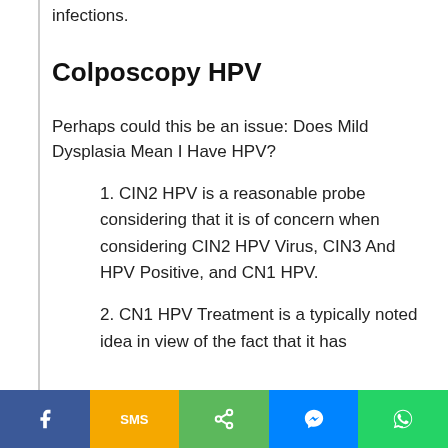infections.
Colposcopy HPV
Perhaps could this be an issue: Does Mild Dysplasia Mean I Have HPV?
1. CIN2 HPV is a reasonable probe considering that it is of concern when considering CIN2 HPV Virus, CIN3 And HPV Positive, and CN1 HPV.
2. CN1 HPV Treatment is a typically noted idea in view of the fact that it has